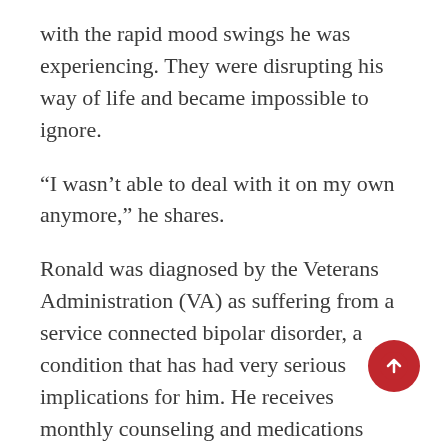with the rapid mood swings he was experiencing. They were disrupting his way of life and became impossible to ignore.
“I wasn’t able to deal with it on my own anymore,” he shares.
Ronald was diagnosed by the Veterans Administration (VA) as suffering from a service connected bipolar disorder, a condition that has had very serious implications for him. He receives monthly counseling and medications from the VA.
Fortunately for Ronald, a “miracle in the form of